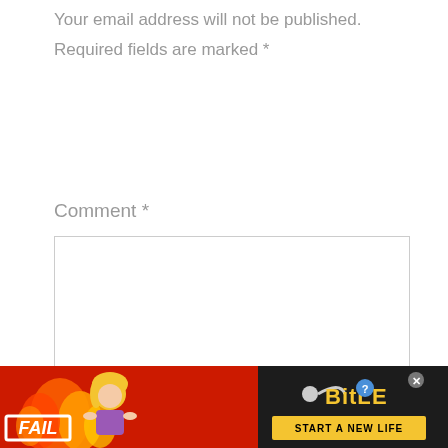Your email address will not be published. Required fields are marked *
Comment *
Name *
[Figure (screenshot): BitLife mobile game advertisement banner with 'FAIL' text, animated character, flames, and 'START A NEW LIFE' button on dark background]